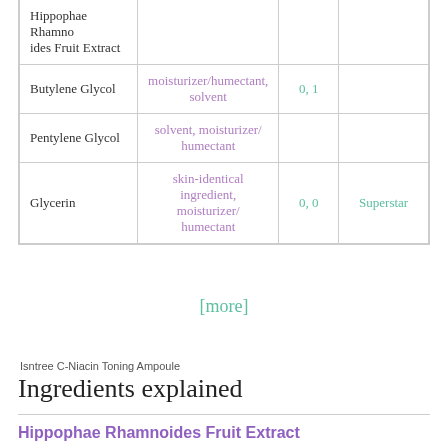| Ingredient | Function | Rating | Note |
| --- | --- | --- | --- |
| Hippophae Rhamnoides Fruit Extract |  |  |  |
| Butylene Glycol | moisturizer/humectant, solvent | 0, 1 |  |
| Pentylene Glycol | solvent, moisturizer/humectant |  |  |
| Glycerin | skin-identical ingredient, moisturizer/humectant | 0, 0 | Superstar |
[more]
Isntree C-Niacin Toning Ampoule
Ingredients explained
Hippophae Rhamnoides Fruit Extract
ALSO-CALLED:  Sea Buckthorn Berry Extract
We don't have description for this ingredient yet